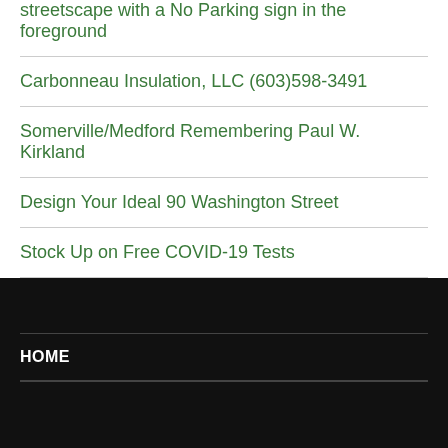streetscape with a No Parking sign in the foreground
Carbonneau Insulation, LLC (603)598-3491
Somerville/Medford Remembering Paul W. Kirkland
Design Your Ideal 90 Washington Street
Stock Up on Free COVID-19 Tests
HOME
LOGOUT
a href="http://thesomervillenewsweekly.blog/wp-logIn.php?action=logout"Logout</a>